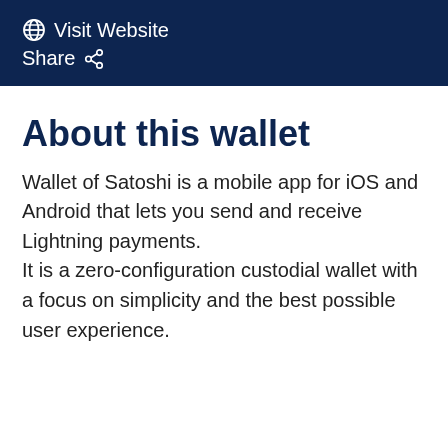Visit Website
Share
About this wallet
Wallet of Satoshi is a mobile app for iOS and Android that lets you send and receive Lightning payments.
It is a zero-configuration custodial wallet with a focus on simplicity and the best possible user experience.